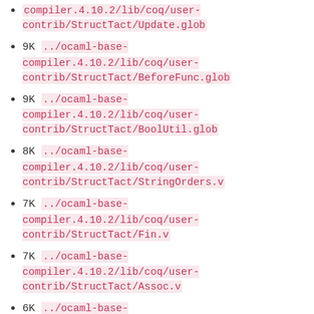../ocaml-base-compiler.4.10.2/lib/coq/user-contrib/StructTact/Update.glob
9K ../ocaml-base-compiler.4.10.2/lib/coq/user-contrib/StructTact/BeforeFunc.glob
9K ../ocaml-base-compiler.4.10.2/lib/coq/user-contrib/StructTact/BoolUtil.glob
8K ../ocaml-base-compiler.4.10.2/lib/coq/user-contrib/StructTact/StringOrders.v
7K ../ocaml-base-compiler.4.10.2/lib/coq/user-contrib/StructTact/Fin.v
7K ../ocaml-base-compiler.4.10.2/lib/coq/user-contrib/StructTact/Assoc.v
6K ../ocaml-base-compiler.4.10.2/lib/coq/user-contrib/StructTact/RemoveAll.v